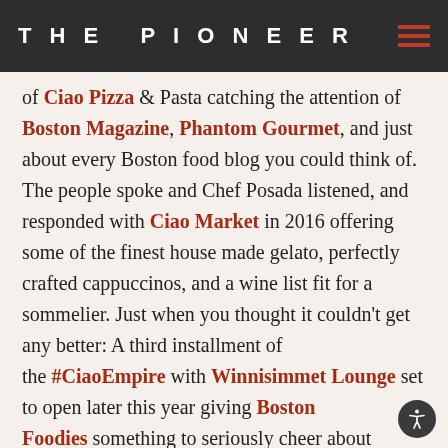THE PIONEER
of Ciao Pizza & Pasta catching the attention of Boston Magazine, Phantom Gourmet, and just about every Boston food blog you could think of. The people spoke and Chef Posada listened, and responded with Ciao Market in 2016 offering some of the finest house made gelato, perfectly crafted cappuccinos, and a wine list fit for a sommelier. Just when you thought it couldn't get any better: A third installment of the #CiaoEmpire with Winnisimmet Lounge set to open later this year giving Boston Foodies something to seriously cheer about